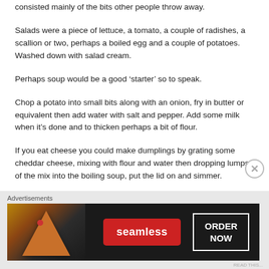consisted mainly of the bits other people throw away.
Salads were a piece of lettuce, a tomato, a couple of radishes, a scallion or two, perhaps a boiled egg and a couple of potatoes. Washed down with salad cream.
Perhaps soup would be a good ‘starter’ so to speak.
Chop a potato into small bits along with an onion, fry in butter or equivalent then add water with salt and pepper. Add some milk when it’s done and to thicken perhaps a bit of flour.
If you eat cheese you could make dumplings by grating some cheddar cheese, mixing with flour and water then dropping lumps of the mix into the boiling soup, put the lid on and simmer.
[Figure (infographic): Seamless food delivery advertisement banner with pizza image on left, Seamless logo in red box, and ORDER NOW button with white border on dark background]
Advertisements